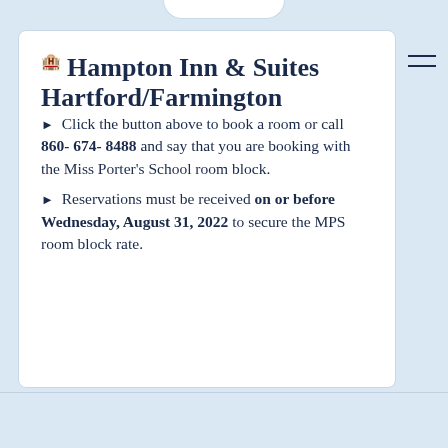Hampton Inn & Suites Hartford/Farmington
Click the button above to book a room or call 860-674-8488 and say that you are booking with the Miss Porter's School room block.
Reservations must be received on or before Wednesday, August 31, 2022 to secure the MPS room block rate.